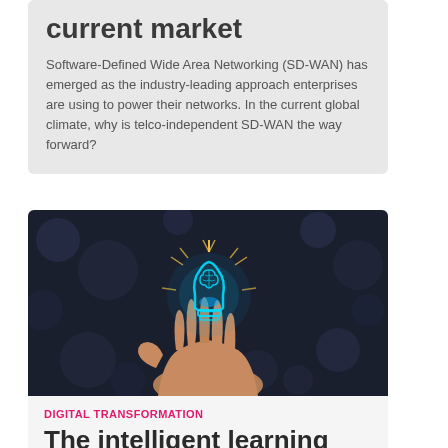current market
Software-Defined Wide Area Networking (SD-WAN) has emerged as the industry-leading approach enterprises are using to power their networks. In the current global climate, why is telco-independent SD-WAN the way forward?
[Figure (photo): A hand holding a glowing blue brain-shaped light bulb against a dark bokeh background, symbolizing artificial intelligence and digital innovation.]
DIGITAL TRANSFORMATION
The intelligent learning platform: